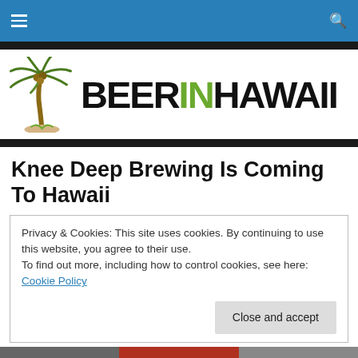BEERINHAWAII navigation bar
[Figure (logo): BeerInHawaii logo with palm tree illustration and bold text BEERINHAWAII where IN is in green]
Knee Deep Brewing Is Coming To Hawaii
Privacy & Cookies: This site uses cookies. By continuing to use this website, you agree to their use.
To find out more, including how to control cookies, see here: Cookie Policy
[Figure (photo): Bottom image strip showing beer-related photos]